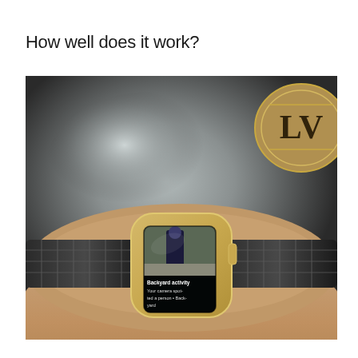How well does it work?
[Figure (photo): Photo of a wrist wearing an Apple Watch with a dark mesh band and gold case. The watch screen shows a security camera notification reading 'Backyard activity Your camera spotted a person • Backyard' with a thumbnail image of a person. A Louis Vuitton logo buckle is visible on a dark bag in the upper right background.]